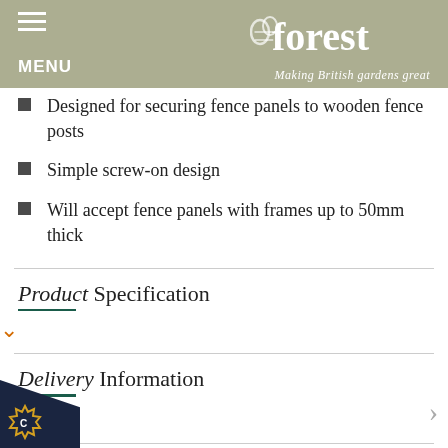MENU | Forest — Making British gardens great
Designed for securing fence panels to wooden fence posts
Simple screw-on design
Will accept fence panels with frames up to 50mm thick
Product Specification
Delivery Information
Related products
[Figure (photo): Two black metal fence panel clips/brackets, related products]
[Figure (photo): Black metal double fence panel bracket with two screw holes, related product]